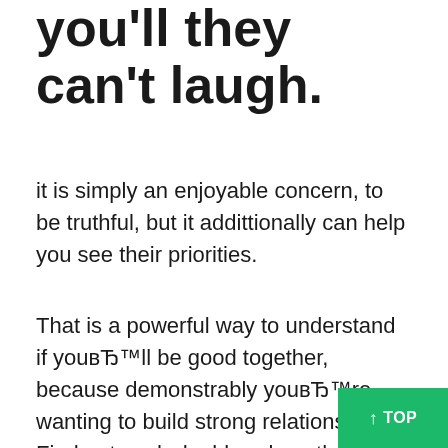you'll they can't laugh.
it is simply an enjoyable concern, to be truthful, but it addittionally can help you see their priorities.
That is a powerful way to understand if youвЂ™ll be good together, because demonstrably youвЂ™re wanting to build strong relationship. Find out each deal-breakers that are othersвЂ™s avoid conflict in the future.